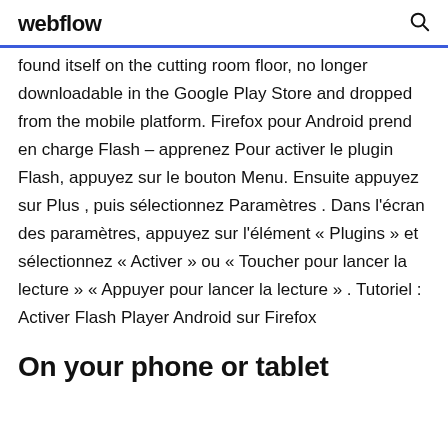webflow
found itself on the cutting room floor, no longer downloadable in the Google Play Store and dropped from the mobile platform. Firefox pour Android prend en charge Flash – apprenez Pour activer le plugin Flash, appuyez sur le bouton Menu. Ensuite appuyez sur Plus , puis sélectionnez Paramètres . Dans l'écran des paramètres, appuyez sur l'élément « Plugins » et sélectionnez « Activer » ou « Toucher pour lancer la lecture » « Appuyer pour lancer la lecture » . Tutoriel : Activer Flash Player Android sur Firefox
On your phone or tablet